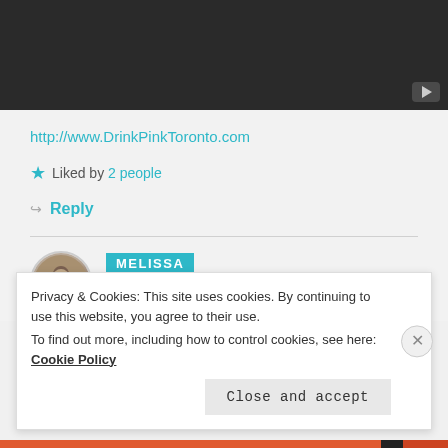[Figure (screenshot): Dark video player thumbnail with YouTube play button icon in bottom-right corner]
http://www.DrinkPinkToronto.com
Liked by 2 people
Reply
MELISSA
August 9, 2016 at 6:51 pm
Privacy & Cookies: This site uses cookies. By continuing to use this website, you agree to their use.
To find out more, including how to control cookies, see here: Cookie Policy
Close and accept